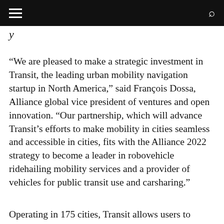[navigation bar with hamburger menu and search icon]
“We are pleased to make a strategic investment in Transit, the leading urban mobility navigation startup in North America,” said François Dossa, Alliance global vice president of ventures and open innovation. “Our partnership, which will advance Transit’s efforts to make mobility in cities seamless and accessible in cities, fits with the Alliance 2022 strategy to become a leader in robovehicle ridehailing mobility services and a provider of vehicles for public transit use and carsharing.”
Operating in 175 cities, Transit allows users to